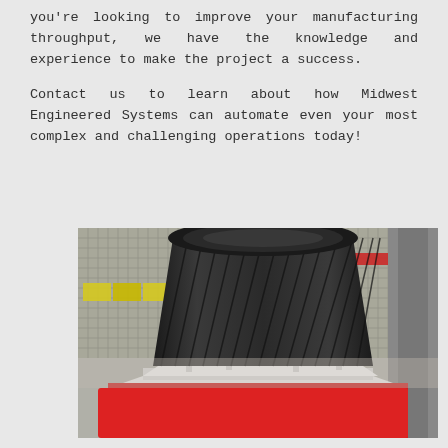you're looking to improve your manufacturing throughput, we have the knowledge and experience to make the project a success.

Contact us to learn about how Midwest Engineered Systems can automate even your most complex and challenging operations today!
[Figure (photo): Industrial automation equipment showing a large black ribbed funnel-shaped component mounted on a white fixture/jig on a red platform, with metal mesh safety guarding visible in the background.]